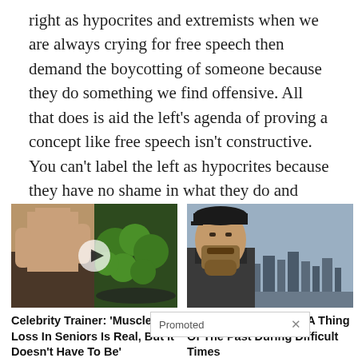right as hypocrites and extremists when we are always crying for free speech then demand the boycotting of someone because they do something we find offensive. All that does is aid the left's agenda of proving a concept like free speech isn't constructive. You can't label the left as hypocrites because they have no shame in what they do and they don't claim to have values in the same manner that those on the right do. As suggested in the first quote in this article, they are willing to fall to any level if they believe their actions will advance the agenda of destroying conservatism.
[Figure (photo): Advertisement photo showing a shirtless muscular man flexing and a pan of broccoli, with a video play button overlay]
Celebrity Trainer: 'Muscle Loss In Seniors Is Real, But It Doesn't Have To Be'
🔥 1,310
[Figure (photo): Advertisement photo showing a bearded man wearing a cap with a city skyline in the background]
5 Ways To Make Debt A Thing Of The Past During Difficult Times
🔥 229